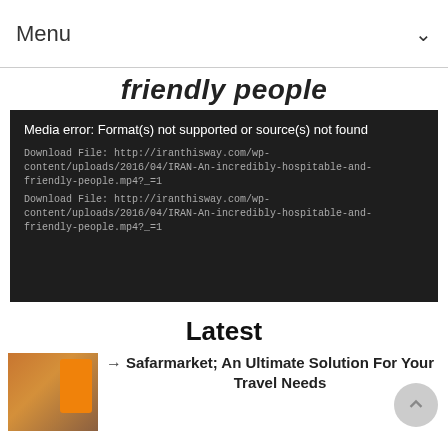Menu
friendly people
Media error: Format(s) not supported or source(s) not found
Download File: http://iranthisway.com/wp-content/uploads/2016/04/IRAN-An-incredibly-hospitable-and-friendly-people.mp4?_=1
Download File: http://iranthisway.com/wp-content/uploads/2016/04/IRAN-An-incredibly-hospitable-and-friendly-people.mp4?_=1
Latest
→ Safarmarket; An Ultimate Solution For Your Travel Needs